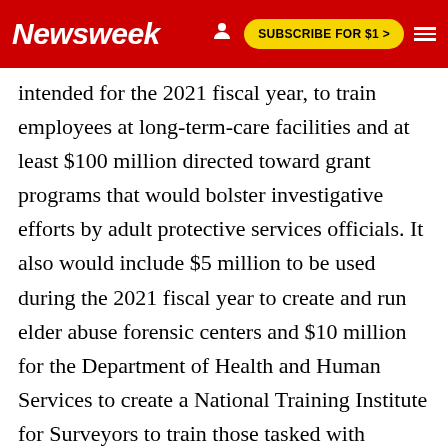Newsweek | SUBSCRIBE FOR $1 >
intended for the 2021 fiscal year, to train employees at long-term-care facilities and at least $100 million directed toward grant programs that would bolster investigative efforts by adult protective services officials. It also would include $5 million to be used during the 2021 fiscal year to create and run elder abuse forensic centers and $10 million for the Department of Health and Human Services to create a National Training Institute for Surveyors to train those tasked with investigating elder abuse and neglect.